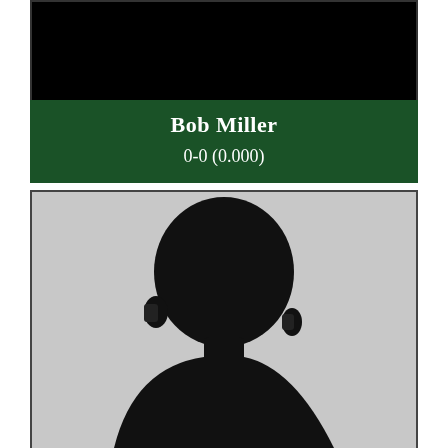[Figure (photo): Top portion of a player card with black photo area above a dark green banner]
Bob Miller
0-0 (0.000)
[Figure (photo): Silhouette of a person's head and shoulders viewed from slightly behind, on a light gray background, inside a bordered card]